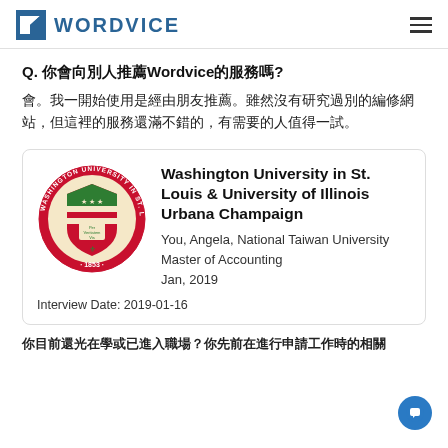WORDVICE
Q. 你會向別人推薦Wordvice的服務嗎?
會。我一開始使用是經由朋友推薦。雖然沒有研究過別的編修網站，但這裡的服務還滿不錯的，有需要的人值得一試。
[Figure (logo): Washington University in St. Louis circular seal, red and green, 1853]
Washington University in St. Louis & University of Illinois Urbana Champaign
You, Angela, National Taiwan University
Master of Accounting
Jan, 2019
Interview Date: 2019-01-16
你目前還光在學或已進入職場？你先前在進行申請工作時的相關